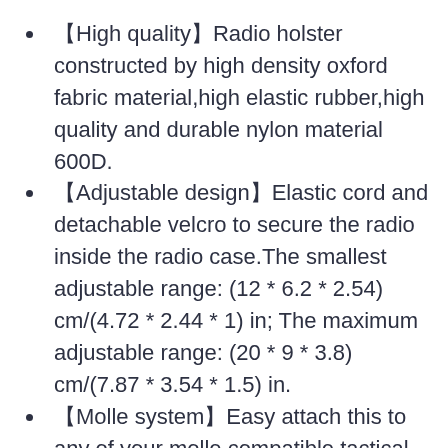【High quality】Radio holster constructed by high density oxford fabric material,high elastic rubber,high quality and durable nylon material 600D.
【Adjustable design】Elastic cord and detachable velcro to secure the radio inside the radio case.The smallest adjustable range: (12 * 6.2 * 2.54) cm/(4.72 * 2.44 * 1) in; The maximum adjustable range: (20 * 9 * 3.8) cm/(7.87 * 3.54 * 1.5) in.
【Molle system】Easy attach this to any of your molle compatible tactical vest, backpack, belt and other equipment to use for additional storage and customization.
【Easy to use】Combined with the adjustable strong expansion rope, the elastic rope